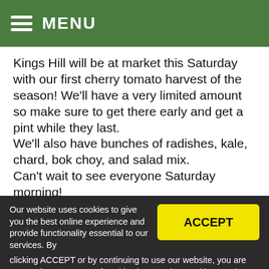MENU
Kings Hill will be at market this Saturday with our first cherry tomato harvest of the season! We'll have a very limited amount so make sure to get there early and get a pint while they last.
We'll also have bunches of radishes, kale, chard, bok choy, and salad mix.
Can't wait to see everyone Saturday morning!
Follow us on Instagram at @kingshillfarm to
Our website uses cookies to give you the best online experience and provide functionality essential to our services. By clicking ACCEPT or by continuing to use our website, you are consenting to our use of cookies in accordance with our Privacy Policy.